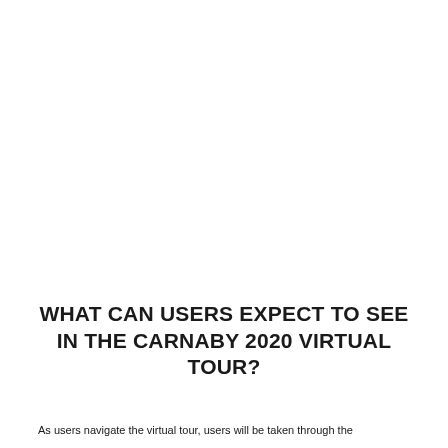WHAT CAN USERS EXPECT TO SEE IN THE CARNABY 2020 VIRTUAL TOUR?
As users navigate the virtual tour, users will be taken through the